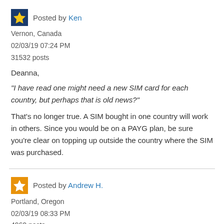Posted by Ken
Vernon, Canada
02/03/19 07:24 PM
31532 posts
Deanna,
"I have read one might need a new SIM card for each country, but perhaps that is old news?"
That's no longer true. A SIM bought in one country will work in others. Since you would be on a PAYG plan, be sure you're clear on topping up outside the country where the SIM was purchased.
Posted by Andrew H.
Portland, Oregon
02/03/19 08:33 PM
4960 posts